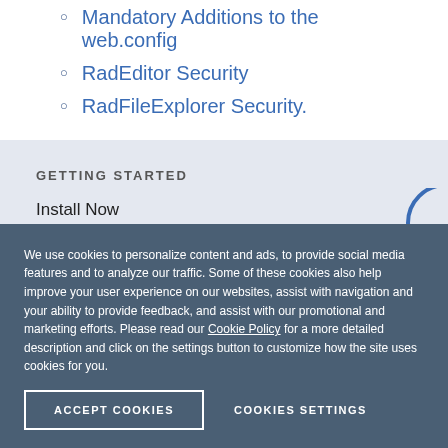Mandatory Additions to the web.config
RadEditor Security
RadFileExplorer Security.
GETTING STARTED
Install Now
Demos
Responsive Demos
We use cookies to personalize content and ads, to provide social media features and to analyze our traffic. Some of these cookies also help improve your user experience on our websites, assist with navigation and your ability to provide feedback, and assist with our promotional and marketing efforts. Please read our Cookie Policy for a more detailed description and click on the settings button to customize how the site uses cookies for you.
ACCEPT COOKIES
COOKIES SETTINGS